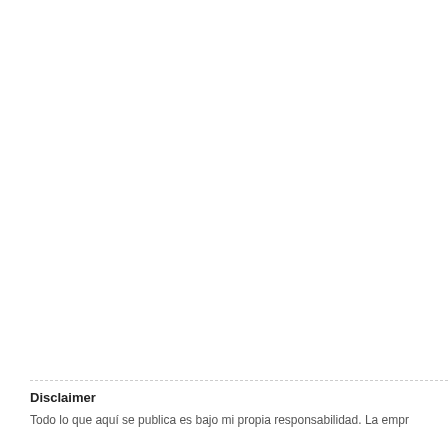Disclaimer
Todo lo que aquí se publica es bajo mi propia responsabilidad. La empr